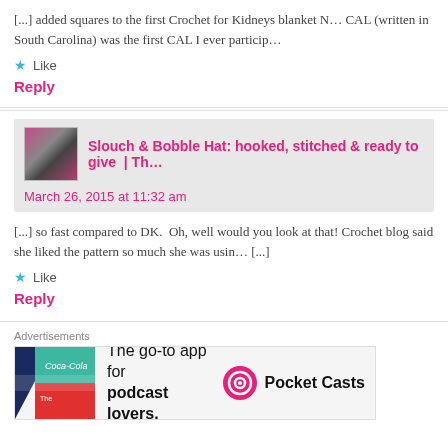[...] added squares to the first Crochet for Kidneys blanket N… CAL (written in South Carolina) was the first CAL I ever particip…
★ Like
Reply
Slouch & Bobble Hat: hooked, stitched & ready to give  | Th…
March 26, 2015 at 11:32 am
[...] so fast compared to DK.  Oh, well would you look at that! Crochet blog said she liked the pattern so much she was usin… [...]
★ Like
Reply
Advertisements
[Figure (infographic): Pocket Casts advertisement: 'The go-to app for podcast lovers.' with Pocket Casts logo and app icon.]